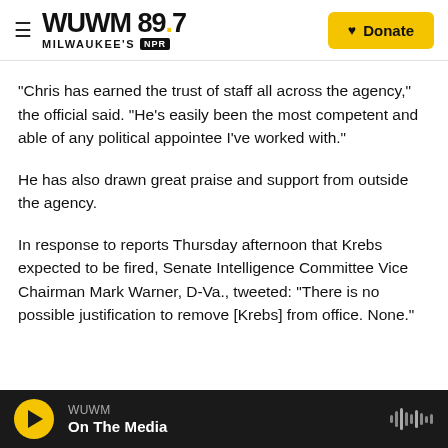WUWM 89.7 MILWAUKEE'S NPR — Donate
"Chris has earned the trust of staff all across the agency," the official said. "He's easily been the most competent and able of any political appointee I've worked with."
He has also drawn great praise and support from outside the agency.
In response to reports Thursday afternoon that Krebs expected to be fired, Senate Intelligence Committee Vice Chairman Mark Warner, D-Va., tweeted: "There is no possible justification to remove [Krebs] from office. None."
WUWM — On The Media